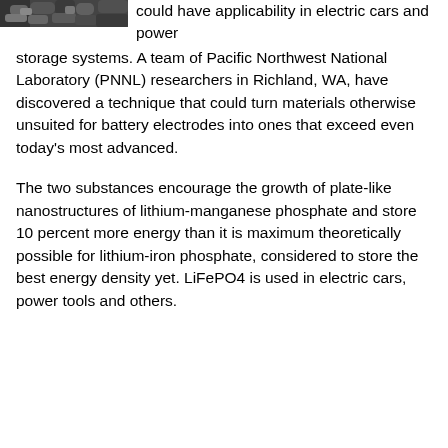[Figure (photo): Black and white photograph of plant leaves or foliage, cropped at top of page.]
could have applicability in electric cars and power storage systems. A team of Pacific Northwest National Laboratory (PNNL) researchers in Richland, WA, have discovered a technique that could turn materials otherwise unsuited for battery electrodes into ones that exceed even today's most advanced.
The two substances encourage the growth of plate-like nanostructures of lithium-manganese phosphate and store 10 percent more energy than it is maximum theoretically possible for lithium-iron phosphate, considered to store the best energy density yet. LiFePO4 is used in electric cars, power tools and others.